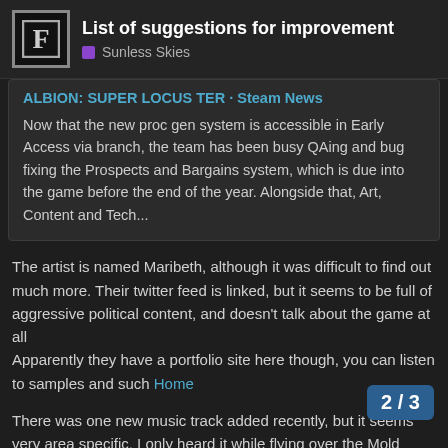List of suggestions for improvement — Sunless Skies
ALBION: SUPER LOCUS TER · Steam News
Now that the new proc gen system is accessible in Early Access via branch, the team has been busy QAing and bug fixing the Prospects and Bargains system, which is due into the game before the end of the year. Alongside that, Art, Content and Tech...
The artist is named Maribeth, although it was difficult to find out much more. Their twitter feed is linked, but it seems to be full of aggressive political content, and doesn't talk about the game at all
Apparently they have a portfolio site here though, you can listen to samples and such Home
There was one new music track added recently, but it seems very area specific. I only heard it while flying over the Mold Pastures near Hybras. It's an odd high inte felt like it'd be right at home in a wild west
2 / 3